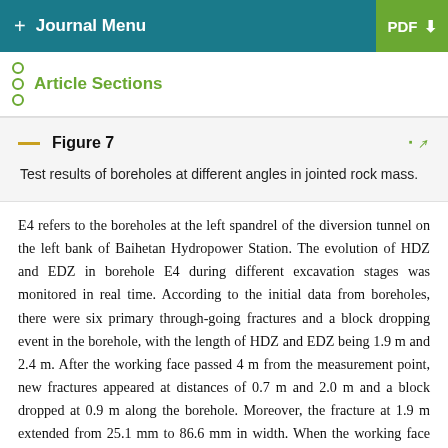+ Journal Menu | PDF
Article Sections
Figure 7
Test results of boreholes at different angles in jointed rock mass.
E4 refers to the boreholes at the left spandrel of the diversion tunnel on the left bank of Baihetan Hydropower Station. The evolution of HDZ and EDZ in borehole E4 during different excavation stages was monitored in real time. According to the initial data from boreholes, there were six primary through-going fractures and a block dropping event in the borehole, with the length of HDZ and EDZ being 1.9 m and 2.4 m. After the working face passed 4 m from the measurement point, new fractures appeared at distances of 0.7 m and 2.0 m and a block dropped at 0.9 m along the borehole. Moreover, the fracture at 1.9 m extended from 25.1 mm to 86.6 mm in width. When the working face was 9 m from the measurement borehole, new